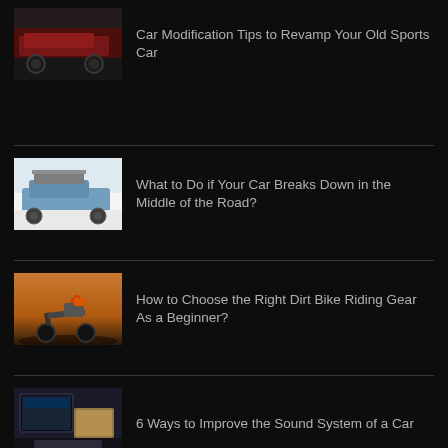[Figure (photo): Red sports car in a garage]
Car Modification Tips to Revamp Your Old Sports Car
[Figure (photo): Blue vintage car with luggage on roof rack]
What to Do if Your Car Breaks Down in the Middle of the Road?
[Figure (photo): Dirt bike rider on a hill at sunset]
How to Choose the Right Dirt Bike Riding Gear As a Beginner?
[Figure (photo): Car interior with touchscreen dashboard]
6 Ways to Improve the Sound System of a Car
[Figure (photo): Wrapped commercial white van with colorful branding]
5 Benefits of Wrapping Your Commercial Vehicle